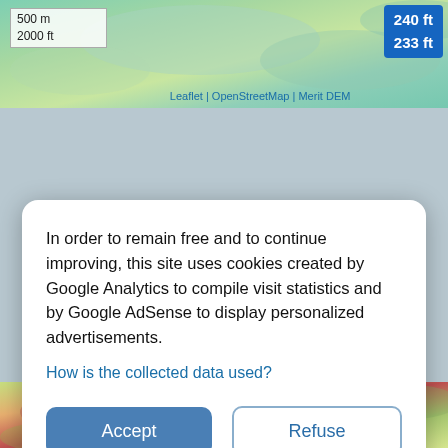[Figure (map): Topographic elevation map (DEM) showing terrain with color gradient from blue/green (low) to red (high), with scale bar showing 500m / 2000ft, attribution to Leaflet, OpenStreetMap, Merit DEM, and elevation badges showing 240 ft and 233 ft]
Cashel, Boyounagh ED, Ballinasloe Municipal District, County Galway, Connacht, Ireland (53.62614 -8.62127)
In order to remain free and to continue improving, this site uses cookies created by Google Analytics to compile visit statistics and by Google AdSense to display personalized advertisements.
How is the collected data used?
Accept
Refuse